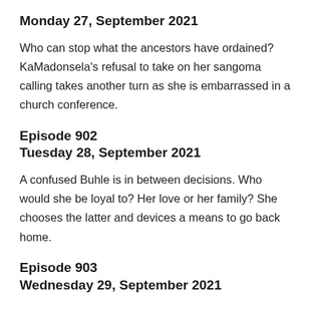Monday 27, September 2021
Who can stop what the ancestors have ordained? KaMadonsela's refusal to take on her sangoma calling takes another turn as she is embarrassed in a church conference.
Episode 902
Tuesday 28, September 2021
A confused Buhle is in between decisions. Who would she be loyal to? Her love or her family? She chooses the latter and devices a means to go back home.
Episode 903
Wednesday 29, September 2021